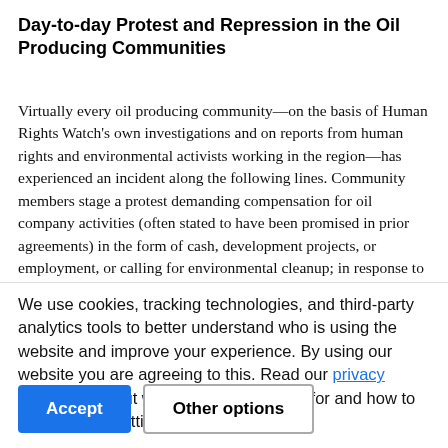Day-to-day Protest and Repression in the Oil Producing Communities
Virtually every oil producing community—on the basis of Human Rights Watch's own investigations and on reports from human rights and environmental activists working in the region—has experienced an incident along the following lines. Community members stage a protest demanding compensation for oil company activities (often stated to have been promised in prior agreements) in the form of cash, development projects, or employment, or calling for environmental cleanup; in response to the protest, members of the Mobile Police or other security forces come to the scene; the security forces carry out indiscriminate [beatings, arrests, and detentions; the protest is then shut down.] [truncated]
We use cookies, tracking technologies, and third-party analytics tools to better understand who is using the website and improve your experience. By using our website you are agreeing to this. Read our privacy policy to find out what cookies are used for and how to change your settings.